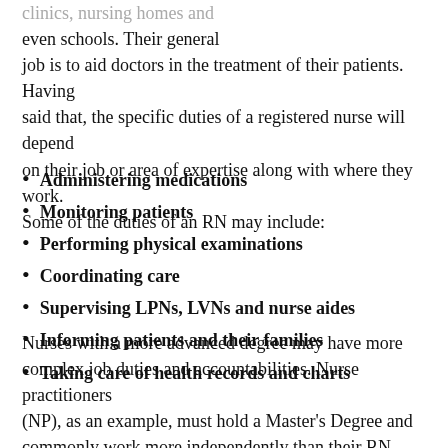clinics, nursing homes and even schools. Their general job is to aid doctors in the treatment of their patients. Having said that, the specific duties of a registered nurse will depend on their job or area of expertise along with where they work. Some of the duties of an RN may include:
Administering medications
Monitoring patients
Performing physical examinations
Coordinating care
Supervising LPNs, LVNs and nurse aides
Informing patients and their families
Taking care of health records and charts
Nurses with a more advanced degree may have more complex job duties and accountabilities. Nurse practitioners (NP), as an example, must hold a Master's Degree and commonly work more independently than their RN counterparts. They can even diagnose and treat illnesses.